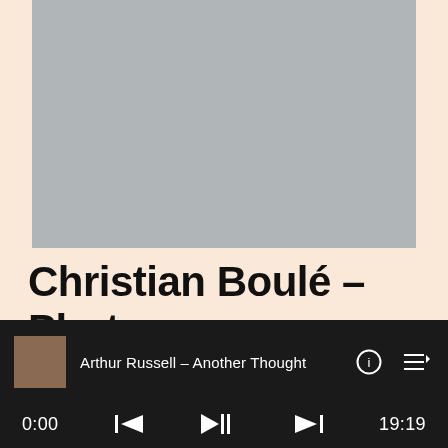[Figure (photo): Album art placeholder — light grey rectangle]
Christian Boulé – Photo Musik
Featured in the psychedelic section of Chee Shimizu's Obscure Sound disc guide, Photo
[Figure (screenshot): Audio player bar: album thumbnail (brown square), track name 'Arthur Russell – Another Thought', info icon, queue icon, progress bar, time 0:00, skip-back button, play button, skip-forward button, time 19:19]